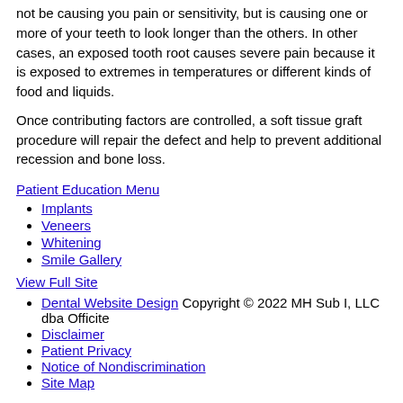not be causing you pain or sensitivity, but is causing one or more of your teeth to look longer than the others. In other cases, an exposed tooth root causes severe pain because it is exposed to extremes in temperatures or different kinds of food and liquids.
Once contributing factors are controlled, a soft tissue graft procedure will repair the defect and help to prevent additional recession and bone loss.
Patient Education Menu
Implants
Veneers
Whitening
Smile Gallery
View Full Site
Dental Website Design Copyright © 2022 MH Sub I, LLC dba Officite
Disclaimer
Patient Privacy
Notice of Nondiscrimination
Site Map